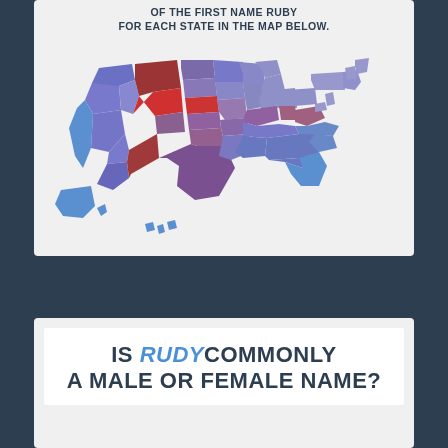OF THE FIRST NAME RUDY FOR EACH STATE IN THE MAP BELOW.
[Figure (map): US choropleth map showing gender distribution of the first name Rudy by state. States colored in shades from blue (more female) to red (more male). Wyoming and Nebraska are bright red indicating strongly male; Montana is dark red/maroon; New Mexico is dark red. Most states are purple or blue shades. Southeastern states and California are blue.]
IS RUDY COMMONLY A MALE OR FEMALE NAME?